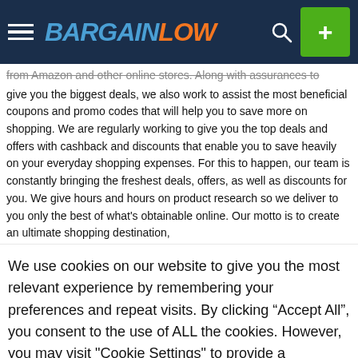BargainLow
from Amazon and other online stores. Along with assurances to give you the biggest deals, we also work to assist the most beneficial coupons and promo codes that will help you to save more on shopping. We are regularly working to give you the top deals and offers with cashback and discounts that enable you to save heavily on your everyday shopping expenses. For this to happen, our team is constantly bringing the freshest deals, offers, as well as discounts for you. We give hours and hours on product research so we deliver to you only the best of what's obtainable online. Our motto is to create an ultimate shopping destination,
We use cookies on our website to give you the most relevant experience by remembering your preferences and repeat visits. By clicking “Accept All”, you consent to the use of ALL the cookies. However, you may visit "Cookie Settings" to provide a controlled consent.